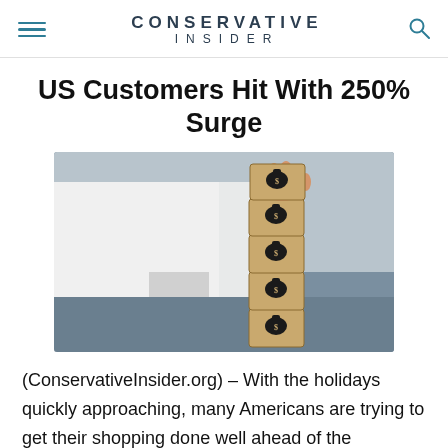CONSERVATIVE INSIDER
US Customers Hit With 250% Surge
[Figure (photo): A hand in a white shirt sleeve placing stacked wooden blocks, each with a money bag icon with a dollar sign, on a blue-gray surface]
(ConservativeInsider.org) – With the holidays quickly approaching, many Americans are trying to get their shopping done well ahead of the